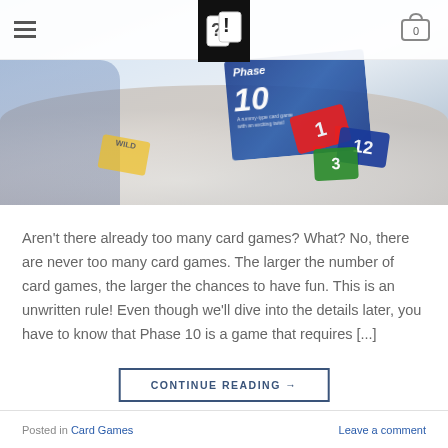Navigation header with hamburger menu, logo, and cart icon (0)
[Figure (photo): Photo of children playing Phase 10 card game on a white table, showing Phase 10 box and colorful numbered cards spread out]
Aren't there already too many card games? What? No, there are never too many card games. The larger the number of card games, the larger the chances to have fun. This is an unwritten rule! Even though we'll dive into the details later, you have to know that Phase 10 is a game that requires [...]
CONTINUE READING →
Posted in Card Games    Leave a comment